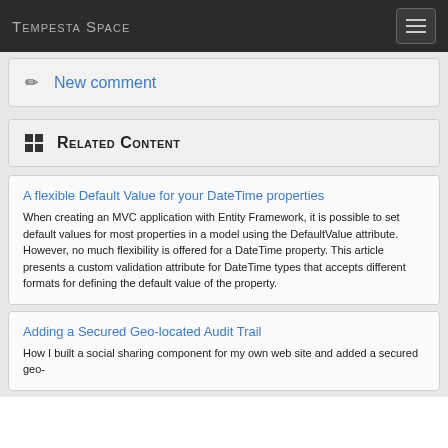Tempesta Space
New comment
Related Content
A flexible Default Value for your DateTime properties
When creating an MVC application with Entity Framework, it is possible to set default values for most properties in a model using the DefaultValue attribute. However, no much flexibility is offered for a DateTime property. This article presents a custom validation attribute for DateTime types that accepts different formats for defining the default value of the property.
Adding a Secured Geo-located Audit Trail
How I built a social sharing component for my own web site and added a secured geo-